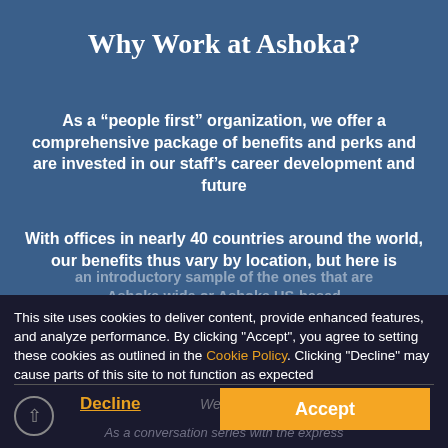Why Work at Ashoka?
As a “people first” organization, we offer a comprehensive package of benefits and perks and are invested in our staff’s career development and future
With offices in nearly 40 countries around the world, our benefits thus vary by location, but here is an introductory sample of the ones that are Ashoka wide or Ashoka US-based
This site uses cookies to deliver content, provide enhanced features, and analyze performance. By clicking "Accept", you agree to setting these cookies as outlined in the Cookie Policy. Clicking "Decline" may cause parts of this site to not function as expected.
Welcome Change
Decline
Accept
As a conversation series with the express